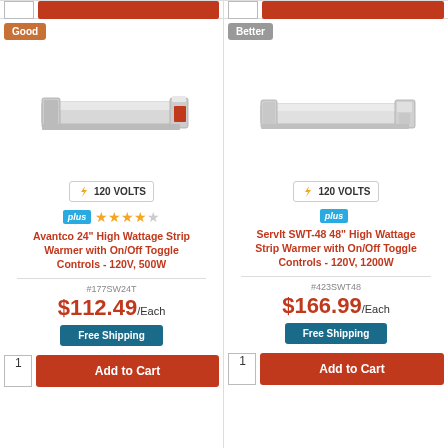[Figure (photo): Partial red Add to Cart button strip at top of left product column]
[Figure (photo): Partial red Add to Cart button strip at top of right product column]
Good
Better
[Figure (photo): Avantco 24-inch High Wattage Strip Warmer product image]
[Figure (photo): ServIt SWT-48 48-inch High Wattage Strip Warmer product image]
120 VOLTS
120 VOLTS
plus
Avantco 24" High Wattage Strip Warmer with On/Off Toggle Controls - 120V, 500W
#177SW24T
$112.49/Each
Free Shipping
plus
ServIt SWT-48 48" High Wattage Strip Warmer with On/Off Toggle Controls - 120V, 1200W
#423SWT48
$166.99/Each
Free Shipping